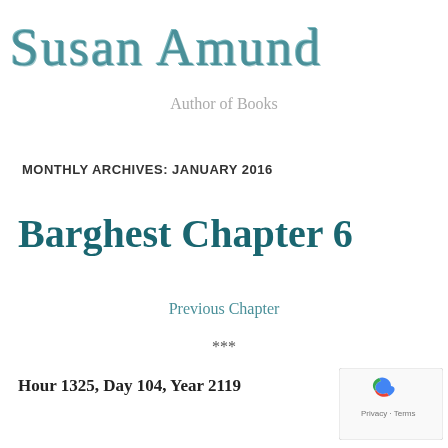Susan Amund
Author of Books
MONTHLY ARCHIVES: JANUARY 2016
Barghest Chapter 6
Previous Chapter
***
Hour 1325, Day 104, Year 2119
For the the page was one of the most...